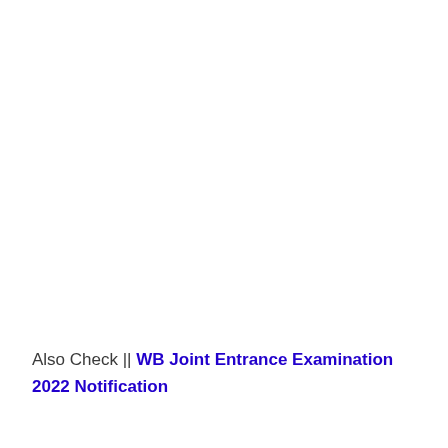Also Check || WB Joint Entrance Examination 2022 Notification